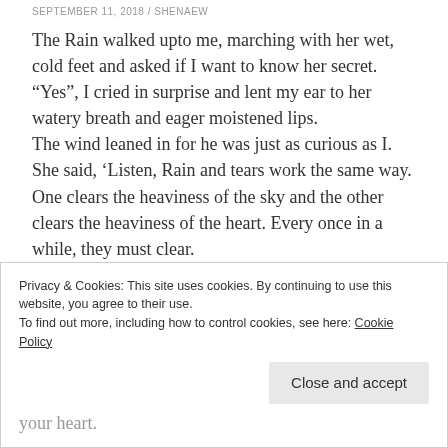SEPTEMBER 11, 2018 / SHENAEW
The Rain walked upto me, marching with her wet, cold feet and asked if I want to know her secret.
“Yes”, I cried in surprise and lent my ear to her watery breath and eager moistened lips.
The wind leaned in for he was just as curious as I.
She said, ‘Listen, Rain and tears work the same way. One clears the heaviness of the sky and the other clears the heaviness of the heart. Every once in a while, they must clear.
The sky isn’t ashamed of its yearly storm, its
Privacy & Cookies: This site uses cookies. By continuing to use this website, you agree to their use.
To find out more, including how to control cookies, see here: Cookie Policy
your heart.